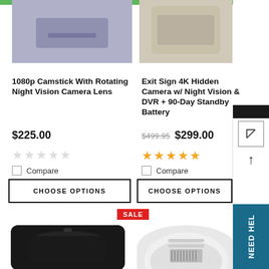[Figure (photo): Partial view of a product (fabric/clothing) for 1080p Camstick - top left]
[Figure (photo): Partial view of a product (beige/tan device) for Exit Sign 4K Hidden Camera - top right]
1080p Camstick With Rotating Night Vision Camera Lens
$225.00
Exit Sign 4K Hidden Camera w/ Night Vision & DVR + 90-Day Standby Battery
$499.95  $299.00
Compare
Compare
CHOOSE OPTIONS
CHOOSE OPTIONS
SALE
[Figure (photo): Black rounded camera device - bottom left product]
[Figure (photo): White smoke detector style hidden camera device - bottom right product]